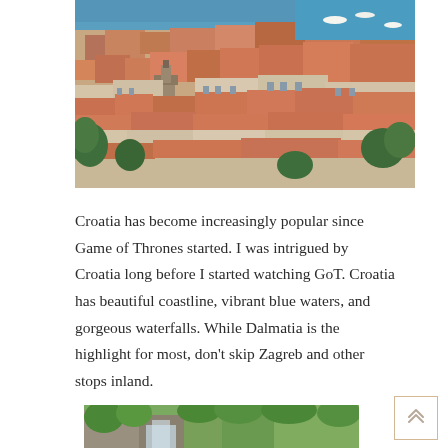[Figure (photo): Aerial view of a Croatian coastal town (likely Hvar) with terracotta orange rooftops, stone buildings, a church tower, and blue Adriatic sea visible in the background.]
Croatia has become increasingly popular since Game of Thrones started. I was intrigued by Croatia long before I started watching GoT. Croatia has beautiful coastline, vibrant blue waters, and gorgeous waterfalls. While Dalmatia is the highlight for most, don't skip Zagreb and other stops inland.
[Figure (photo): Bottom portion of a photo showing lush green foliage and what appears to be a rocky or waterfall scene in Croatia.]